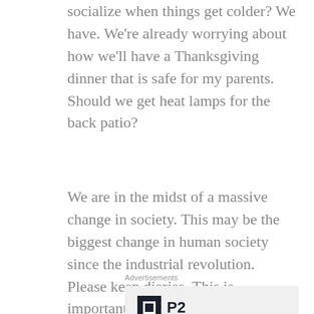socialize when things get colder? We have. We're already worrying about how we'll have a Thanksgiving dinner that is safe for my parents. Should we get heat lamps for the back patio?
We are in the midst of a massive change in society. This may be the biggest change in human society since the industrial revolution. Please keep diaries. This is important.
Advertisements
[Figure (other): P2 advertisement with logo (dark square with inner square icon and 'P2' text) and headline 'Getting your team on the same page is easy. And free.']